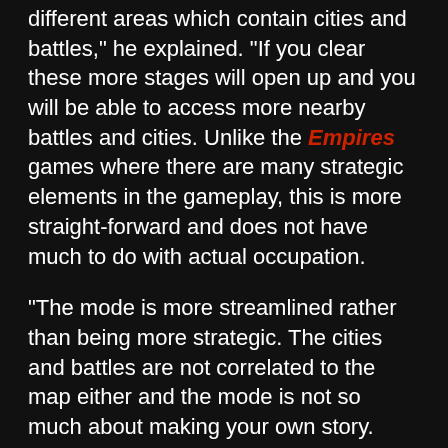different areas which contain cities and battles," he explained. "If you clear these more stages will open up and you will be able to access more nearby battles and cities. Unlike the Empires games where there are many strategic elements in the gameplay, this is more straight-forward and does not have much to do with actual occupation.
"The mode is more streamlined rather than being more strategic. The cities and battles are not correlated to the map either and the mode is not so much about making your own story. Once you clear these you can move to the surrounding areas freely and you will have a choice of choosing which battle to tackle next.  It delivers a slightly different gameplay experience in the sense that